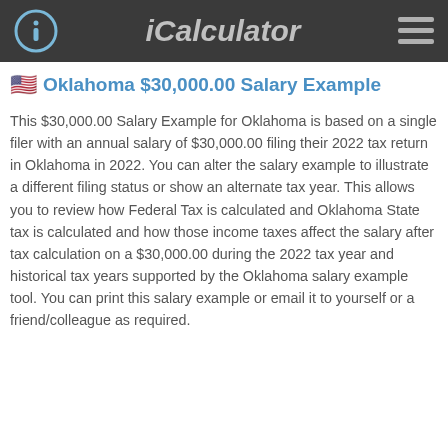iCalculator
Oklahoma $30,000.00 Salary Example
This $30,000.00 Salary Example for Oklahoma is based on a single filer with an annual salary of $30,000.00 filing their 2022 tax return in Oklahoma in 2022. You can alter the salary example to illustrate a different filing status or show an alternate tax year. This allows you to review how Federal Tax is calculated and Oklahoma State tax is calculated and how those income taxes affect the salary after tax calculation on a $30,000.00 during the 2022 tax year and historical tax years supported by the Oklahoma salary example tool. You can print this salary example or email it to yourself or a friend/colleague as required.